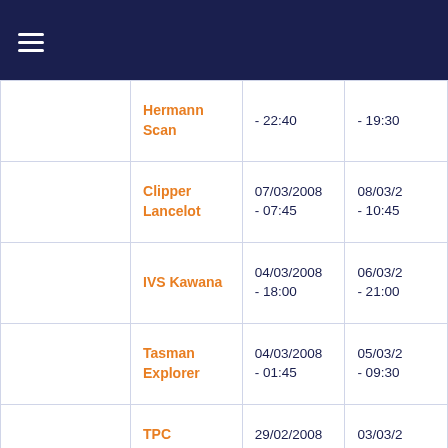|  | Vessel | Departure | Arrival |
| --- | --- | --- | --- |
|  | Hermann Scan | - 22:40 | - 19:30 |
|  | Clipper Lancelot | 07/03/2008 - 07:45 | 08/03/2 - 10:45 |
|  | IVS Kawana | 04/03/2008 - 18:00 | 06/03/2 - 21:00 |
|  | Tasman Explorer | 04/03/2008 - 01:45 | 05/03/2 - 09:30 |
|  | TPC Tauranga | 29/02/2008 - 15:30 | 03/03/2 - 21:00 |
|  | Ocean Star | 01/03/2008 - 15:30 | 03/03/2 - 06:00 |
|  | Port Bonagun | 28/02/2008 | 01/03/2 |